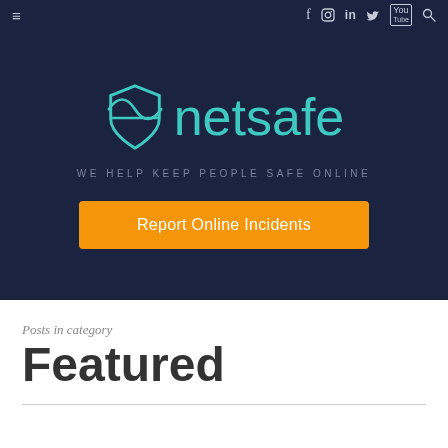≡  f  ○  in  🐦  You  🔍
[Figure (logo): Netsafe logo with teal shield icon and teal text reading 'netsafe']
WE HELP KEEP PEOPLE SAFE ONLINE
Report Online Incidents
Posts in category
Featured